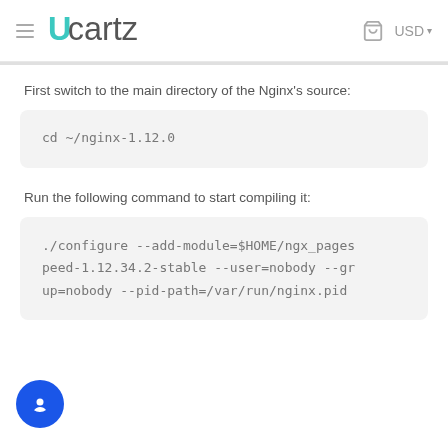Ucartz  USD
First switch to the main directory of the Nginx's source:
cd ~/nginx-1.12.0
Run the following command to start compiling it:
./configure --add-module=$HOME/ngx_pages peed-1.12.34.2-stable --user=nobody --gr up=nobody --pid-path=/var/run/nginx.pid